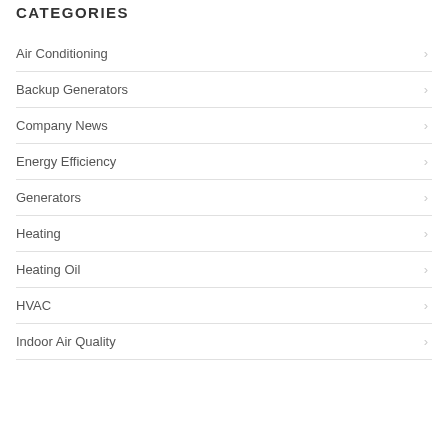CATEGORIES
Air Conditioning
Backup Generators
Company News
Energy Efficiency
Generators
Heating
Heating Oil
HVAC
Indoor Air Quality